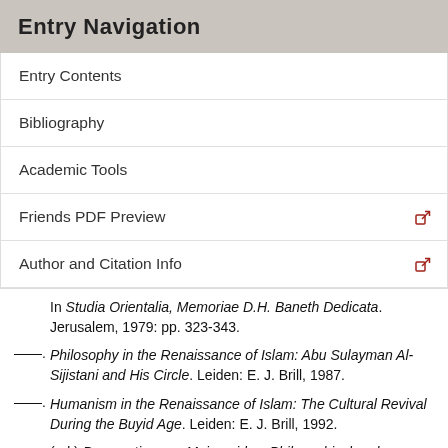Entry Navigation
Entry Contents
Bibliography
Academic Tools
Friends PDF Preview
Author and Citation Info
In Studia Orientalia, Memoriae D.H. Baneth Dedicata. Jerusalem, 1979: pp. 323-343.
——. Philosophy in the Renaissance of Islam: Abu Sulayman Al-Sijistani and His Circle. Leiden: E. J. Brill, 1987.
——. Humanism in the Renaissance of Islam: The Cultural Revival During the Buyid Age. Leiden: E. J. Brill, 1992.
——. (ed.) Perspectives on Maimonides: Philosophical and Historical Studies. London: The Littman Library of Jewish Civilization, 1996.